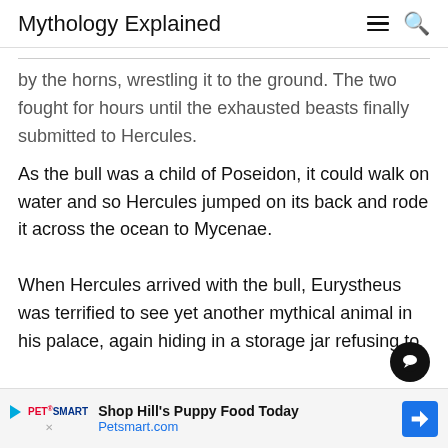Mythology Explained
by the horns, wrestling it to the ground. The two fought for hours until the exhausted beasts finally submitted to Hercules.
As the bull was a child of Poseidon, it could walk on water and so Hercules jumped on its back and rode it across the ocean to Mycenae.
When Hercules arrived with the bull, Eurystheus was terrified to see yet another mythical animal in his palace, again hiding in a storage jar refusing to
[Figure (infographic): Advertisement banner for PetSmart: 'Shop Hill's Puppy Food Today' with Petsmart.com link and navigation arrow icon]